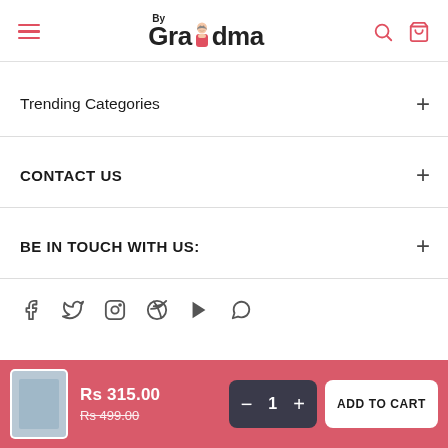By Grandma
Trending Categories
CONTACT US
BE IN TOUCH WITH US:
[Figure (other): Social media icons row: Facebook, Twitter, Instagram, Pinterest, YouTube, WhatsApp]
Rs 315.00  Rs 499.00  − 1 +  ADD TO CART